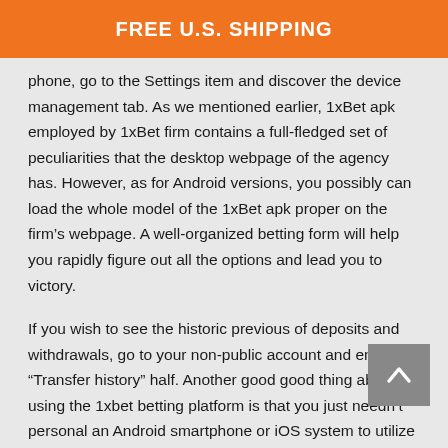FREE U.S. SHIPPING
phone, go to the Settings item and discover the device management tab. As we mentioned earlier, 1xBet apk employed by 1xBet firm contains a full-fledged set of peculiarities that the desktop webpage of the agency has. However, as for Android versions, you possibly can load the whole model of the 1xBet apk proper on the firm's webpage. A well-organized betting form will help you rapidly figure out all the options and lead you to victory.
If you wish to see the historic previous of deposits and withdrawals, go to your non-public account and enter the “Transfer history” half. Another good good thing about using the 1xbet betting platform is that you just needn’t personal an Android smartphone or iOS system to utilize the 1xbet web site. Be smart and alter up your teams and as correctly as your sports actions, you by no means know what you may uncover.
Everything in 1xBet, along with on line casino video games and